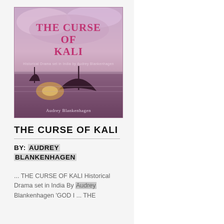[Figure (photo): Book cover of 'The Curse of Kali' by Audrey Blankenhagen, showing a dramatic purple/pink sky with silhouettes of boats on water and an explosion, with stylized title text in pink and author name at the bottom.]
THE CURSE OF KALI
BY: AUDREY BLANKENHAGEN
... THE CURSE OF KALI Historical Drama set in India By Audrey Blankenhagen 'GOD I ... THE